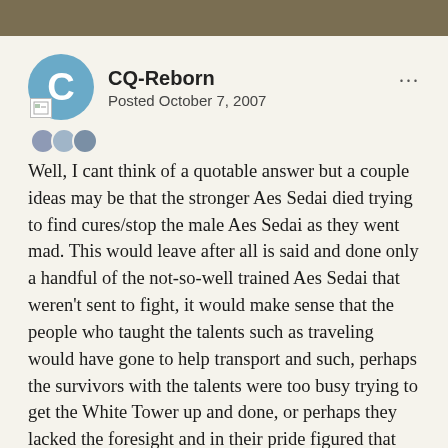CQ-Reborn
Posted October 7, 2007
Well, I cant think of a quotable answer but a couple ideas may be that the stronger Aes Sedai died trying to find cures/stop the male Aes Sedai as they went mad. This would leave after all is said and done only a handful of the not-so-well trained Aes Sedai that weren't sent to fight, it would make sense that the people who taught the talents such as traveling would have gone to help transport and such, perhaps the survivors with the talents were too busy trying to get the White Tower up and done, or perhaps they lacked the foresight and in their pride figured that these talents would not be lost, both of these wouldn't